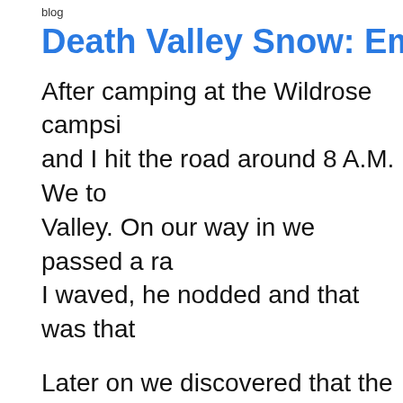blog
Death Valley Snow: Emigrant Pa…
After camping at the Wildrose campsi… and I hit the road around 8 A.M. We to… Valley. On our way in we passed a ra… I waved, he nodded and that was that…
Later on we discovered that the road … closed, he was headed in to lock the … guessing he saw our vehicle and was… beautiful. There was about six inches … and the ground was white as far as th… amazing.
We took a side trip to Skidoo mine. W…